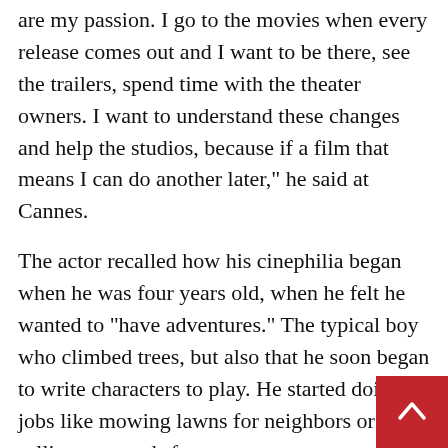are my passion. I go to the movies when every release comes out and I want to be there, see the trailers, spend time with the theater owners. I want to understand these changes and help the studios, because if a film that means I can do another later," he said at Cannes.
The actor recalled how his cinephilia began when he was four years old, when he felt he wanted to "have adventures." The typical boy who climbed trees, but also that he soon began to write characters to play. He started doing jobs like mowing lawns for neighbors or selling postcards for one reason: to go to the movies. After his second audition, he landed his first role, and there he realized that although he never went to film school, he "knew movies since he was a kid." His education was on the set. "I went to each department and studied everything that